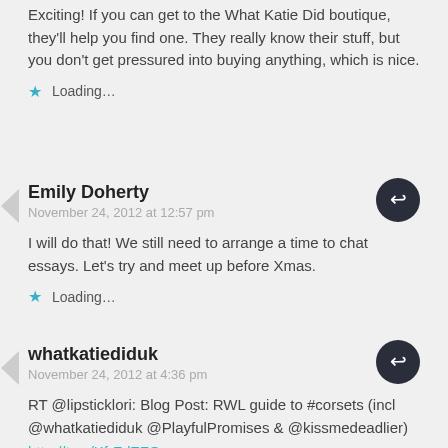Exciting! If you can get to the What Katie Did boutique, they'll help you find one. They really know their stuff, but you don't get pressured into buying anything, which is nice.
Loading...
Emily Doherty
November 24, 2012 at 12:57 pm
I will do that! We still need to arrange a time to chat essays. Let's try and meet up before Xmas.
Loading...
whatkatiediduk
November 24, 2012 at 4:36 pm
RT @lipsticklori: Blog Post: RWL guide to #corsets (incl @whatkatiediduk @PlayfulPromises & @kissmedeadlier) http://t.co/KfrFdZFO
Loading...